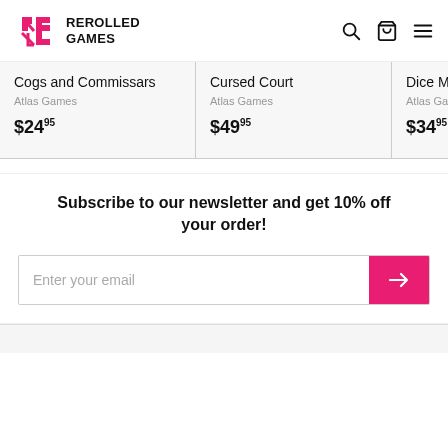REROLLED GAMES
Cogs and Commissars — Atlas Games — $24.95
Cursed Court — Atlas Games — $49.95
Dice M — Atlas Ga — $34.95
Subscribe to our newsletter and get 10% off your order!
Enter your email